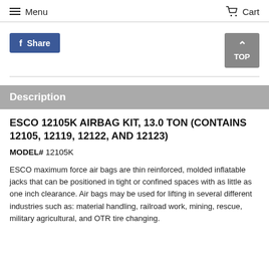Menu   Cart
[Figure (other): Facebook Share button and TOP navigation button]
Description
ESCO 12105K AIRBAG KIT, 13.0 TON (CONTAINS 12105, 12119, 12122, AND 12123)
MODEL# 12105K
ESCO maximum force air bags are thin reinforced, molded inflatable jacks that can be positioned in tight or confined spaces with as little as one inch clearance. Air bags may be used for lifting in several different industries such as: material handling, railroad work, mining, rescue, military agricultural, and OTR tire changing.